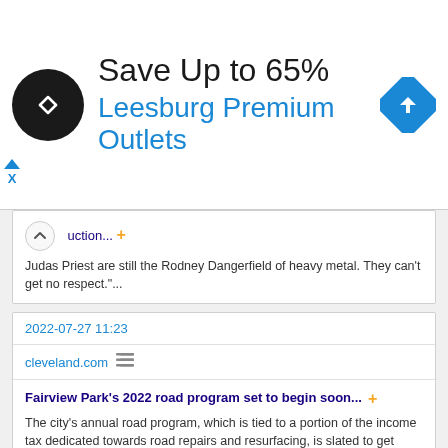[Figure (infographic): Advertisement banner: black circular logo with double arrow symbol, 'Save Up to 65%' headline, 'Leesburg Premium Outlets' subtitle in blue, blue diamond navigation icon on right. Close button (triangle + X) on left side.]
uction... +
Judas Priest are still the Rodney Dangerfield of heavy metal. They can't get no respect."...
2022-07-27 11:23
cleveland.com
Fairview Park's 2022 road program set to begin soon... +
The city's annual road program, which is tied to a portion of the income tax dedicated towards road repairs and resurfacing, is slated to get started next month....
2022-07-27 11:13
cleveland.com